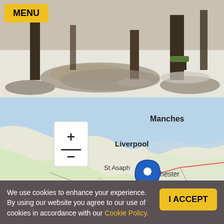[Figure (photo): Outdoor winter park scene with snow-dusted ground, tree stumps, and shadows on grass]
[Figure (map): Interactive map showing North Wales and North West England including Liverpool, Manchester, Chester, Wrexham, Bangor, St Asaph, and Snowdonia National Park with a blue location pin marker]
We use cookies to enhance your experience. By using our website you agree to our use of cookies in accordance with our Cookie Policy.
I ACCEPT